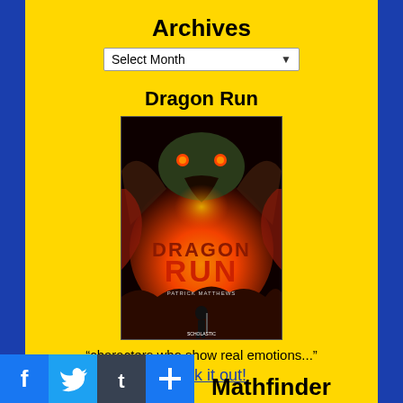Archives
Select Month
Dragon Run
[Figure (illustration): Book cover of 'Dragon Run' by Patrick Matthews (Scholastic). Shows a young boy standing with a staff facing a giant dragon breathing fire, dramatic red/orange sky.]
“characters who show real emotions...”
Check it out!
[Figure (other): Social media sharing buttons: Facebook (blue), Twitter (blue), Tumblr (dark), Add (blue)]
Mathfinder